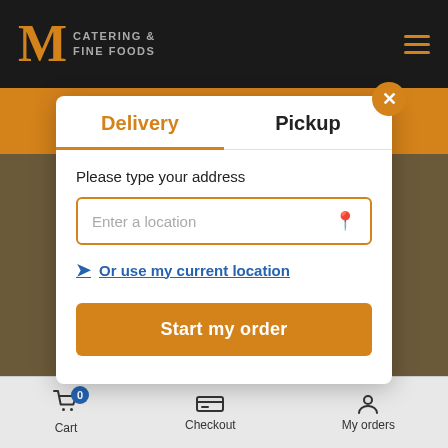[Figure (logo): M Catering & Fine Foods logo with orange M letter and grey text on black background]
[Figure (screenshot): Delivery and Pickup modal dialog over food background with address input, 'Or use my current location' link, and 'Start my order' button]
Cart  Checkout  My orders